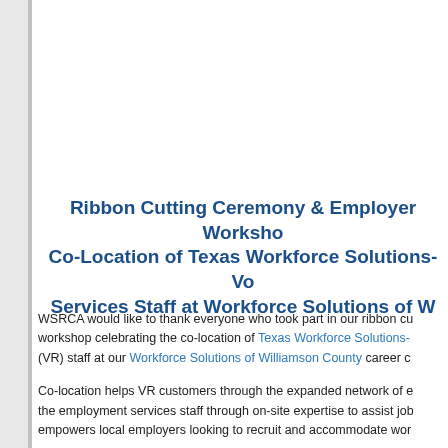Ribbon Cutting Ceremony & Employer Workshop: Co-Location of Texas Workforce Solutions-Vocational Services Staff at Workforce Solutions of W...
WSRCA would like to thank everyone who took part in our ribbon cutting and workshop celebrating the co-location of Texas Workforce Solutions-(VR) staff at our Workforce Solutions of Williamson County career c...
Co-location helps VR customers through the expanded network of e... the employment services staff through on-site expertise to assist job... empowers local employers looking to recruit and accommodate wor...
A special thank you goes out to Texas Workforce Commission Chair... Commissioner, Julian Alvarez; Employer Commissioner, Aaron Dem...